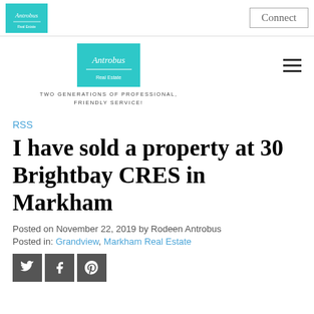Connect
[Figure (logo): Antrobus real estate logo - teal/turquoise square with stylized text and small figure]
TWO GENERATIONS OF PROFESSIONAL, FRIENDLY SERVICE!
RSS
I have sold a property at 30 Brightbay CRES in Markham
Posted on November 22, 2019 by Rodeen Antrobus
Posted in: Grandview, Markham Real Estate